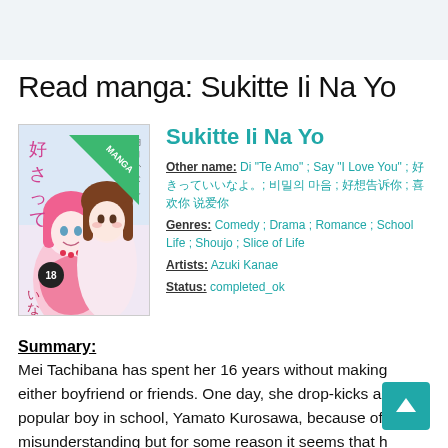Read manga: Sukitte Ii Na Yo
[Figure (illustration): Manga volume cover of Sukitte Ii Na Yo showing two anime-style female characters, one with pink hair and one with brown hair, with Japanese text. A green triangle badge in top-right corner reads MANGA.]
Sukitte Ii Na Yo
Other name: Di "Te Amo" ; Say "I Love You" ; 好きっていいなよ。; 비밀의 마음 ; 好想告诉你 ; 喜欢你 说爱你
Genres: Comedy ; Drama ; Romance ; School Life ; Shoujo ; Slice of Life
Artists: Azuki Kanae
Status: completed_ok
Summary:
Mei Tachibana has spent her 16 years without making either boyfriend or friends. One day, she drop-kicks a popular boy in school, Yamato Kurosawa, because of a misunderstanding but for some reason it seems that h